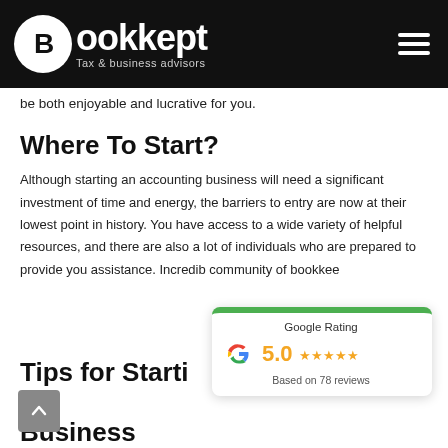Bookkept — Tax & business advisors
be both enjoyable and lucrative for you.
Where To Start?
Although starting an accounting business will need a significant investment of time and energy, the barriers to entry are now at their lowest point in history. You have access to a wide variety of helpful resources, and there are also a lot of individuals who are prepared to provide you assistance. Incredib[le] community of bookkeep[ers]
[Figure (other): Google Rating widget showing 5.0 stars based on 78 reviews]
Tips for Starting a Bookkeeping Business